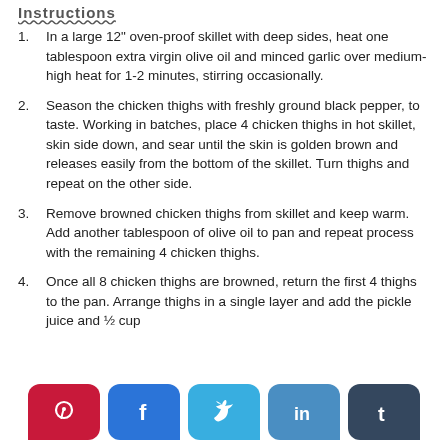Instructions
In a large 12" oven-proof skillet with deep sides, heat one tablespoon extra virgin olive oil and minced garlic over medium-high heat for 1-2 minutes, stirring occasionally.
Season the chicken thighs with freshly ground black pepper, to taste. Working in batches, place 4 chicken thighs in hot skillet, skin side down, and sear until the skin is golden brown and releases easily from the bottom of the skillet. Turn thighs and repeat on the other side.
Remove browned chicken thighs from skillet and keep warm. Add another tablespoon of olive oil to pan and repeat process with the remaining 4 chicken thighs.
Once all 8 chicken thighs are browned, return the first 4 thighs to the pan. Arrange thighs in a single layer and add the pickle juice and ½ cup …